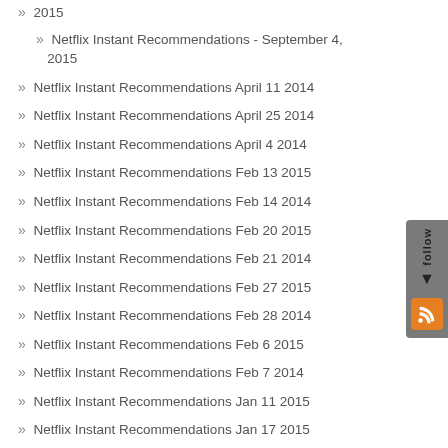» 2015
» Netflix Instant Recommendations - September 4, 2015
» Netflix Instant Recommendations April 11 2014
» Netflix Instant Recommendations April 25 2014
» Netflix Instant Recommendations April 4 2014
» Netflix Instant Recommendations Feb 13 2015
» Netflix Instant Recommendations Feb 14 2014
» Netflix Instant Recommendations Feb 20 2015
» Netflix Instant Recommendations Feb 21 2014
» Netflix Instant Recommendations Feb 27 2015
» Netflix Instant Recommendations Feb 28 2014
» Netflix Instant Recommendations Feb 6 2015
» Netflix Instant Recommendations Feb 7 2014
» Netflix Instant Recommendations Jan 11 2015
» Netflix Instant Recommendations Jan 17 2015
» Netflix Instant Recommendations Jan 23 2015
» Netflix Instant Recommendations Jan 30 2015
» Netflix Instant Recommendations Jan 31 2014